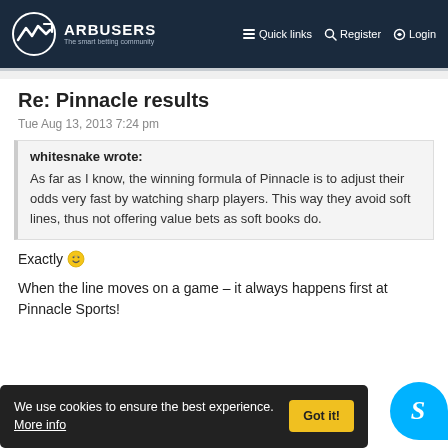ARBUSERS The smart betting community | Quick links | Register | Login
Re: Pinnacle results
Tue Aug 13, 2013 7:24 pm
whitesnake wrote: As far as I know, the winning formula of Pinnacle is to adjust their odds very fast by watching sharp players. This way they avoid soft lines, thus not offering value bets as soft books do.
Exactly 😊
When the line moves on a game – it always happens first at Pinnacle Sports!
We use cookies to ensure the best experience. More info    Got it!